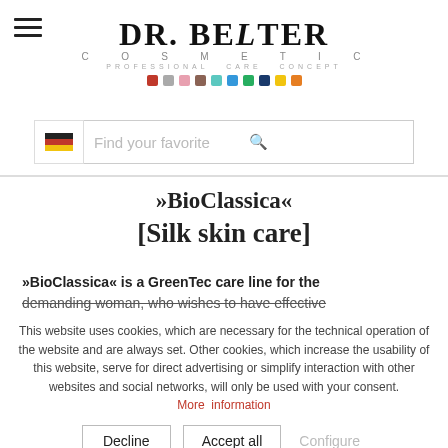[Figure (logo): DR. BELTER COSMETIC logo with colored dot swatches and search bar with German flag]
»BioClassica« [Silk skin care]
»BioClassica« is a GreenTec care line for the demanding woman, who wishes to have effective
This website uses cookies, which are necessary for the technical operation of the website and are always set. Other cookies, which increase the usability of this website, serve for direct advertising or simplify interaction with other websites and social networks, will only be used with your consent. More information
Decline | Accept all | Configure